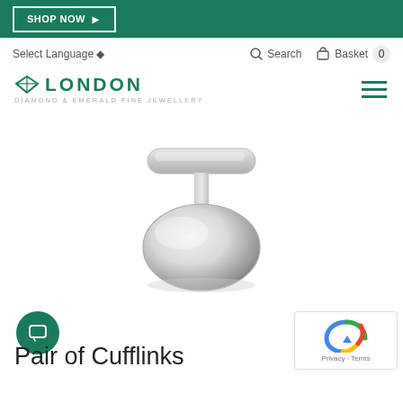SHOP NOW
Select Language ♦   Search   Basket 0
[Figure (logo): London Diamond & Emerald Fine Jewellery logo with diamond icon]
[Figure (photo): Silver cufflink product photo showing a T-bar style cufflink with oval face plate]
Pair of Cufflinks